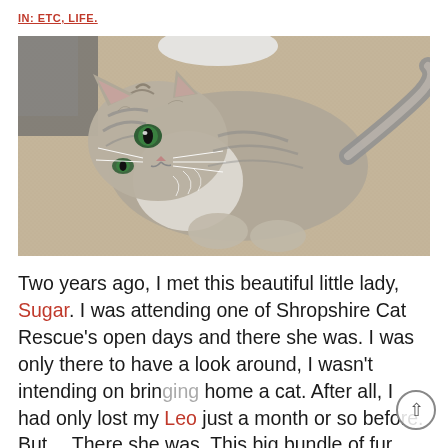IN: ETC, LIFE.
[Figure (photo): A fluffy grey and white tabby cat lying on its side on a carpet, looking upward with bright green eyes. The cat appears playful and relaxed.]
Two years ago, I met this beautiful little lady, Sugar. I was attending one of Shropshire Cat Rescue's open days and there she was. I was only there to have a look around, I wasn't intending on bringing home a cat. After all, I had only lost my Leo just a month or so before. But… There she was. This big bundle of fur tugging at